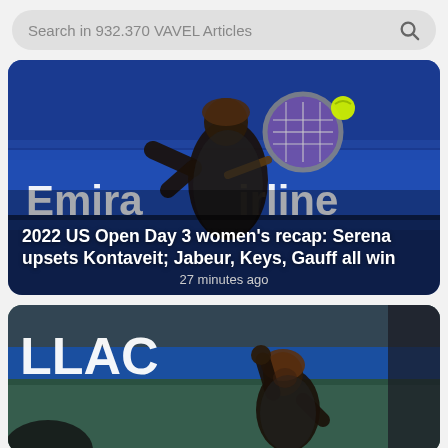Search in 932.370 VAVEL Articles
[Figure (photo): Serena Williams hitting a backhand shot at the 2022 US Open, with Emirates Airline court branding visible in the background]
2022 US Open Day 3 women's recap: Serena upsets Kontaveit; Jabeur, Keys, Gauff all win
27 minutes ago
[Figure (photo): Serena Williams celebrating on court at the 2022 US Open, raising her fist in victory, with LLAC signage visible in the background]